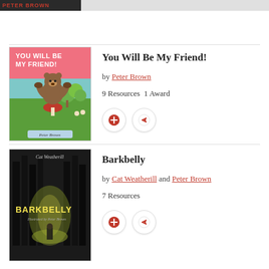[Figure (screenshot): Top strip showing a partially visible book cover for Peter Brown]
[Figure (illustration): Book cover for 'You Will Be My Friend!' by Peter Brown, showing a bear with raised paws in a green field]
You Will Be My Friend!
by Peter Brown
9 Resources  1 Award
[Figure (illustration): Book cover for 'Barkbelly' by Cat Weatherill, dark forest scene with a glowing figure]
Barkbelly
by Cat Weatherill and Peter Brown
7 Resources